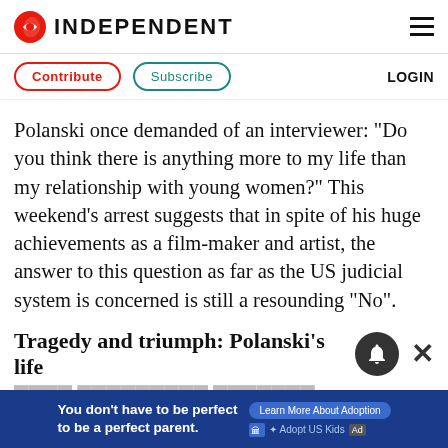INDEPENDENT
Contribute   Subscribe   LOGIN
Polanski once demanded of an interviewer: "Do you think there is anything more to my life than my relationship with young women?" This weekend's arrest suggests that in spite of his huge achievements as a film-maker and artist, the answer to this question as far as the US judicial system is concerned is still a resounding "No".
Tragedy and triumph: Polanski's life
[Figure (other): Advertisement banner: 'You don't have to be perfect to be a perfect parent.' with Learn More About Adoption button and Adopt US Kids logo]